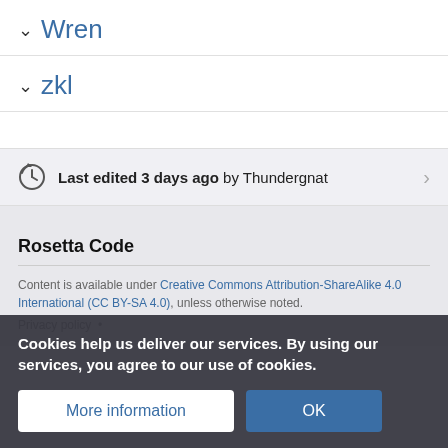Wren
zkl
Last edited 3 days ago by Thundergnat
Rosetta Code
Content is available under Creative Commons Attribution-ShareAlike 4.0 International (CC BY-SA 4.0), unless otherwise noted.
Cookies help us deliver our services. By using our services, you agree to our use of cookies.